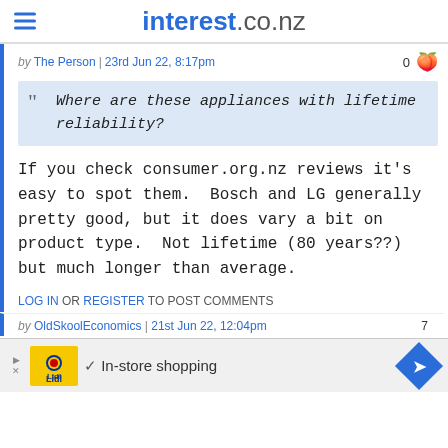interest.co.nz
by The Person | 23rd Jun 22, 8:17pm  0
" Where are these appliances with lifetime reliability?
If you check consumer.org.nz reviews it's easy to spot them.  Bosch and LG generally pretty good, but it does vary a bit on product type.  Not lifetime (80 years??) but much longer than average.
LOG IN OR REGISTER TO POST COMMENTS
by OldSkoolEconomics | 21st Jun 22, 12:04pm  7
[Figure (screenshot): Advertisement banner for Lidl with in-store shopping text and navigation arrow icon]